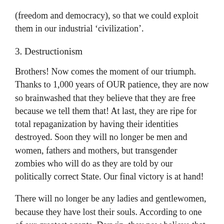(freedom and democracy), so that we could exploit them in our industrial ‘civilization’.
3. Destructionism
Brothers! Now comes the moment of our triumph. Thanks to 1,000 years of OUR patience, they are now so brainwashed that they believe that they are free because we tell them that! At last, they are ripe for total repaganization by having their identities destroyed. Soon they will no longer be men and women, fathers and mothers, but transgender zombies who will do as they are told by our politically correct State. Our final victory is at hand!
There will no longer be any ladies and gentlewomen, because they have lost their souls. According to one of our greatest agents, Darwin, they now believe that they are, at best, intelligent apes, who are guided by us whom inspire the basest instincts in them. At worst, they now know that they